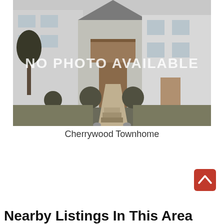[Figure (photo): Grayscale photo of a townhome exterior with trees and landscaping. White overlay text reads 'NO PHOTO AVAILABLE'.]
Cherrywood Townhome
[Figure (other): Red rounded square button with white upward chevron arrow, used as a scroll-to-top button]
Nearby Listings In This Area